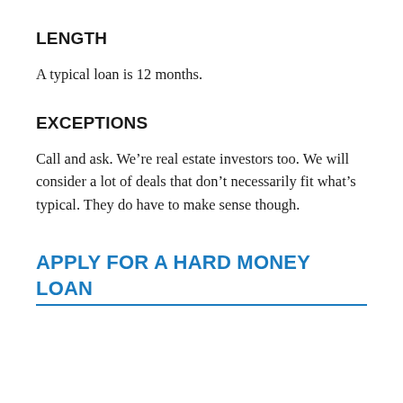LENGTH
A typical loan is 12 months.
EXCEPTIONS
Call and ask. We’re real estate investors too. We will consider a lot of deals that don’t necessarily fit what’s typical. They do have to make sense though.
APPLY FOR A HARD MONEY LOAN